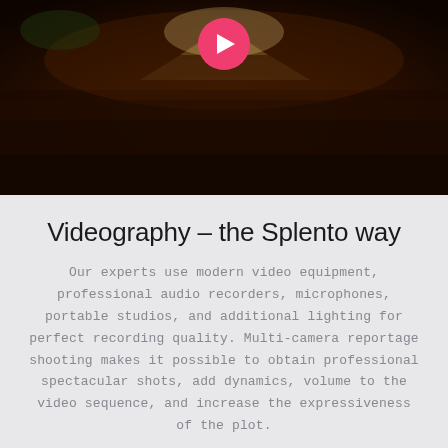[Figure (photo): Concert crowd photo with dark warm tones and a pink play button circle overlay at the top center]
Videography – the Splento way
Our experts use modern video equipment, professional audio recorders, microphones, portable studios, and additional lighting for perfect recording quality. Multi-camera reportage shooting makes it possible to obtain professional spectacular shots, add dynamics, volume to the video sequence, and increase the expressiveness of the plot.
ENQUIRE